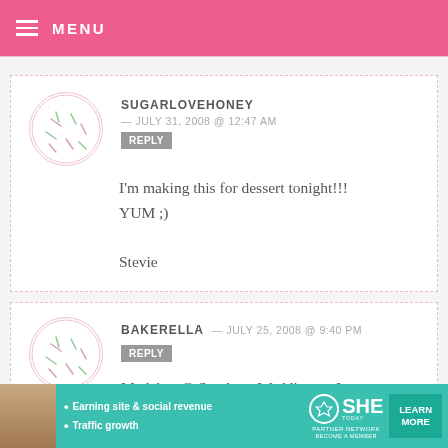MENU
SUGARLOVEHONEY — JULY 31, 2008 @ 12:47 AM  REPLY
I'm making this for dessert tonight!!!
YUM ;)
Stevie
BAKERELLA — JULY 25, 2008 @ 9:40 PM  REPLY
Madelyn @ Southern Weddings – Just
[Figure (screenshot): SHE Partner Network advertisement banner with learn more button]